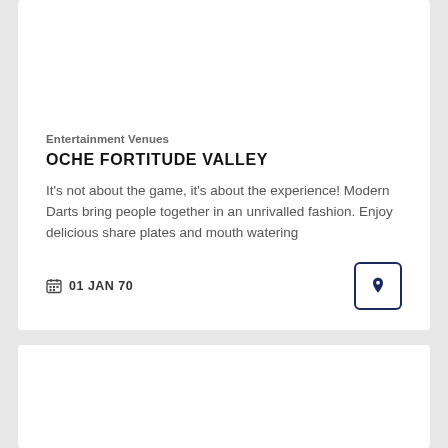Entertainment Venues
OCHE FORTITUDE VALLEY
It's not about the game, it's about the experience! Modern Darts bring people together in an unrivalled fashion. Enjoy delicious share plates and mouth watering
01 JAN 70